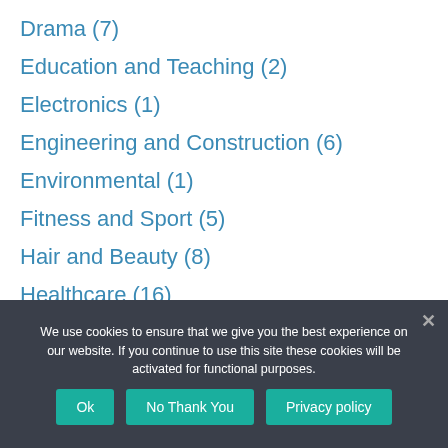Drama (7)
Education and Teaching (2)
Electronics (1)
Engineering and Construction (6)
Environmental (1)
Fitness and Sport (5)
Hair and Beauty (8)
Healthcare (16)
Horticulture (5)
We use cookies to ensure that we give you the best experience on our website. If you continue to use this site these cookies will be activated for functional purposes.